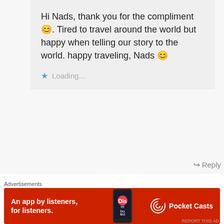Hi Nads, thank you for the compliment😊. Tired to travel around the world but happy when telling our story to the world. happy traveling, Nads 😊
Loading...
↪ Reply
Leave a Reply
Enter your comment here...
Advertisements
[Figure (infographic): Red Pocket Casts advertisement banner: 'An app by listeners, for listeners.' with Pocket Casts logo and a phone graphic showing a podcast app]